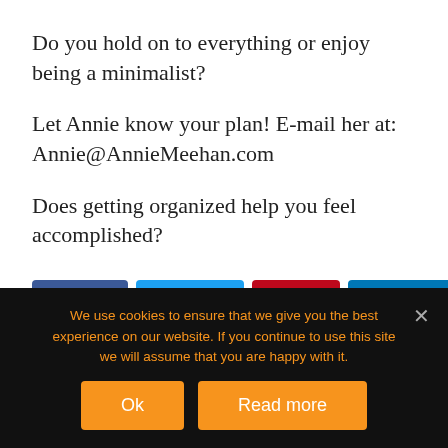Do you hold on to everything or enjoy being a minimalist?
Let Annie know your plan! E-mail her at: Annie@AnnieMeehan.com
Does getting organized help you feel accomplished?
[Figure (infographic): Social sharing buttons: Facebook Share, Twitter Tweet, Pinterest Pin, LinkedIn Share]
We use cookies to ensure that we give you the best experience on our website. If you continue to use this site we will assume that you are happy with it.
[Figure (infographic): Cookie consent buttons: Ok and Read more]